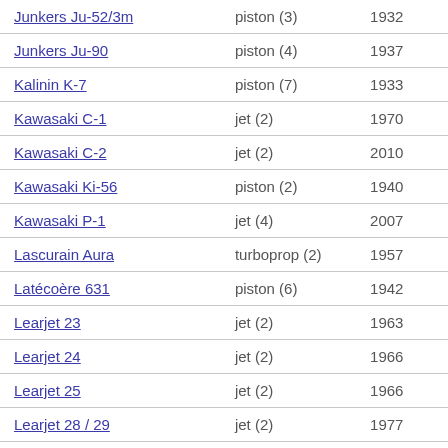| Aircraft | Engine type | First flight |
| --- | --- | --- |
| Junkers Ju-52/3m | piston (3) | 1932 |
| Junkers Ju-90 | piston (4) | 1937 |
| Kalinin K-7 | piston (7) | 1933 |
| Kawasaki C-1 | jet (2) | 1970 |
| Kawasaki C-2 | jet (2) | 2010 |
| Kawasaki Ki-56 | piston (2) | 1940 |
| Kawasaki P-1 | jet (4) | 2007 |
| Lascurain Aura | turboprop (2) | 1957 |
| Latécoère 631 | piston (6) | 1942 |
| Learjet 23 | jet (2) | 1963 |
| Learjet 24 | jet (2) | 1966 |
| Learjet 25 | jet (2) | 1966 |
| Learjet 28 / 29 | jet (2) | 1977 |
| Learjet 31 | jet (2) | 1987 |